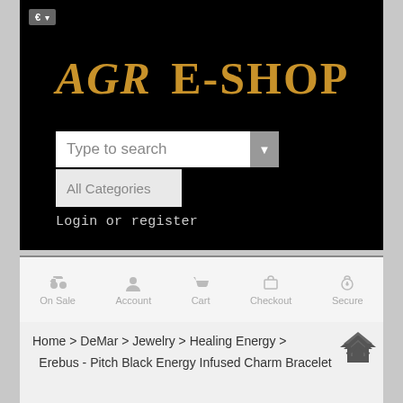[Figure (screenshot): AGR E-SHOP website header with black background, gold logo text, search box with 'Type to search', All Categories dropdown, and Login or register link]
€ ▾
AGR  E-SHOP
Type to search
All Categories
Login or register
On Sale  Account  Cart  Checkout  Secure
Home > DeMar > Jewelry > Healing Energy > Erebus - Pitch Black Energy Infused Charm Bracelet